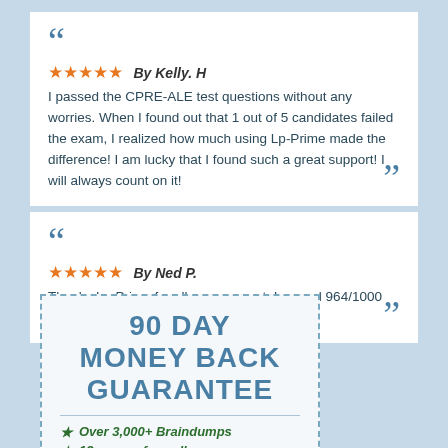By Kelly. H — I passed the CPRE-ALE test questions without any worries. When I found out that 1 out of 5 candidates failed the exam, I realized how much using Lp-Prime made the difference! I am lucky that I found such a great support! I will always count on it!
By Ned P. — Thanks Lp-Prime for all your support. I scored 964/1000 on the CPRE-ALE exam.
[Figure (infographic): 90 Day Money Back Guarantee badge with dashed border. Lists: Over 3,000+ Braindumps, 12 years of excellence]